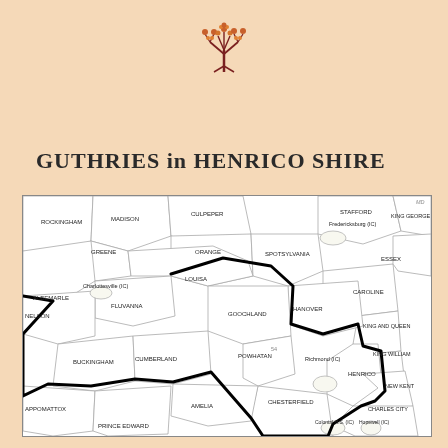[Figure (logo): Decorative genealogy tree logo in red/brown tones]
GUTHRIES in HENRICO SHIRE
[Figure (map): Map of Virginia counties with thick black border highlighting Henrico Shire region. Counties labeled include: Rockingham, Greene, Madison, Culpeper, Stafford, Fredericksburg (IC), King George, Orange, Spotsylvania, Essex, Albemarle, Charlottesville (IC), Caroline, King and Queen, Louisa, King William, Fluvanna, Goochland, Hanover, Nelson, Buckingham, Cumberland, Powhatan, Richmond (IC), New Kent, Henrico, Chesterfield, Charles City, Appomattox, Amelia, Prince Edward, Colonial H.S. (IC), Hopewell (IC)]